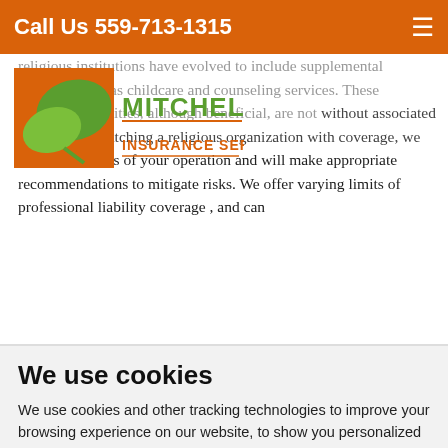Call Us 559-713-1315
[Figure (logo): Mitchell Insurance Services logo with green leaf icon and orange/green text]
religious institutions have evolved to include supplemental activities such as childcare and counseling services. These additional activities, although beneficial, are not without associated risks. When matching a religious organization with coverage, we review all facets of your operation and will make appropriate recommendations to mitigate risks. We offer varying limits of professional liability coverage , and can
We use cookies
We use cookies and other tracking technologies to improve your browsing experience on our website, to show you personalized content and targeted ads, to analyze our website traffic, and to understand where our visitors are coming from.